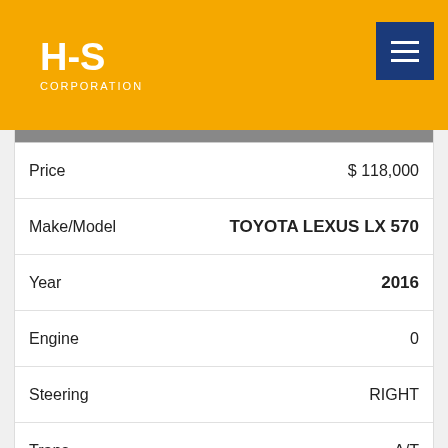H-S CORPORATION
| Field | Value |
| --- | --- |
| Price | $ 118,000 |
| Make/Model | TOYOTA LEXUS LX 570 |
| Year | 2016 |
| Engine | 0 |
| Steering | RIGHT |
| Trans | A/T |
| Mileage(KM) | 0 |
| Color | p / white |